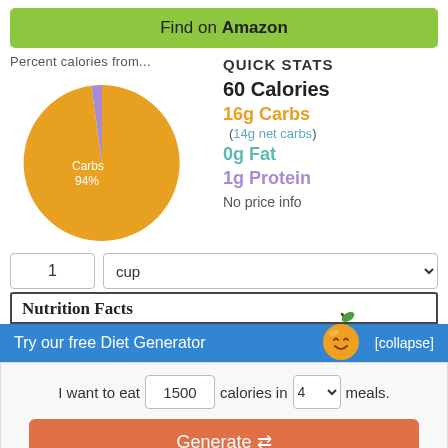Find on Amazon
Percent calories from...
[Figure (pie-chart): Percent calories from...]
QUICK STATS
60 Calories
16g Carbs
(14g net carbs)
0g Fat
1g Protein
No price info
1  cup
Nutrition Facts
Try our free Diet Generator
[collapse]
I want to eat 1500 calories in 4 meals.
Generate